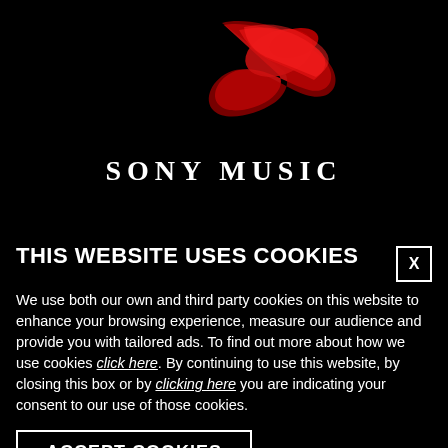[Figure (logo): Sony Music logo: red brush stroke above white text 'SONY MUSIC' on black background]
THIS WEBSITE USES COOKIES
We use both our own and third party cookies on this website to enhance your browsing experience, measure our audience and provide you with tailored ads. To find out more about how we use cookies click here. By continuing to use this website, by closing this box or by clicking here you are indicating your consent to our use of those cookies.
ACCEPT COOKIES